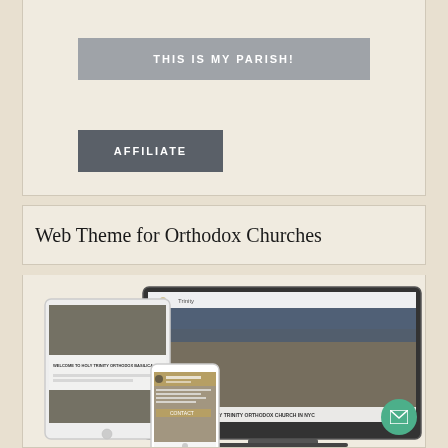[Figure (screenshot): Gray button labeled THIS IS MY PARISH! on a light beige card background]
[Figure (screenshot): Dark gray button labeled AFFILIATE on a light beige card background]
Web Theme for Orthodox Churches
[Figure (screenshot): Mockup showing a website for Holy Trinity Orthodox Church in NYC displayed on a laptop, tablet, and smartphone. The church building photo is shown prominently on the devices.]